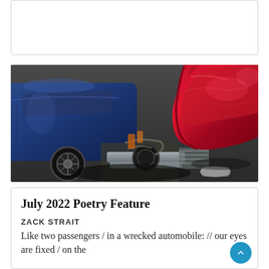[Figure (photo): Photo of two wrecked cars after a collision — a blue car on the left and a severely crushed red car on the right, with debris on the ground, photographed at night or low light.]
July 2022 Poetry Feature
ZACK STRAIT
Like two passengers / in a wrecked automobile: // our eyes are fixed / on the